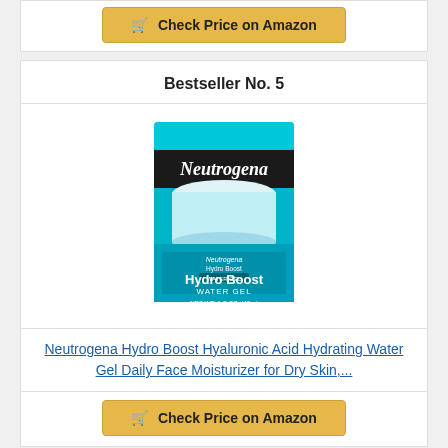Check Price on Amazon
Bestseller No. 5
[Figure (photo): Neutrogena Hydro Boost Water Gel product photo — a teal/blue jar with black Neutrogena branding, showing Hydro Boost Water Gel, NET WT. 1.7 OZ. (48 g)]
Neutrogena Hydro Boost Hyaluronic Acid Hydrating Water Gel Daily Face Moisturizer for Dry Skin,...
Check Price on Amazon